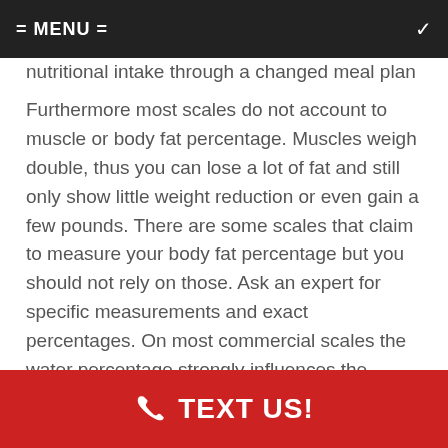= MENU =
nutritional intake through a changed meal plan
Furthermore most scales do not account to muscle or body fat percentage. Muscles weigh double, thus you can lose a lot of fat and still only show little weight reduction or even gain a few pounds. There are some scales that claim to measure your body fat percentage but you should not rely on those. Ask an expert for specific measurements and exact percentages. On most commercial scales the water percentage strongly influences the measuring of your body fat percentage. Also the point of time for the measurement influences the results as certain substances are released during a workout and influence the result. The BMI (Body Mass
TEXT US!